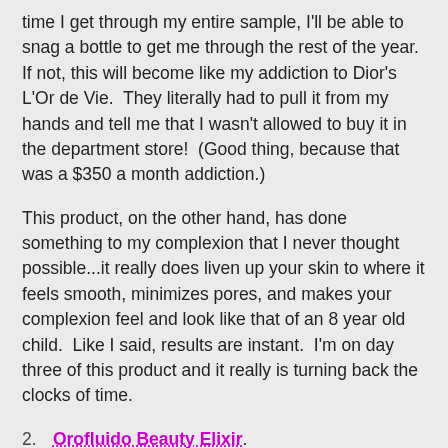time I get through my entire sample, I'll be able to snag a bottle to get me through the rest of the year. If not, this will become like my addiction to Dior's L'Or de Vie.  They literally had to pull it from my hands and tell me that I wasn't allowed to buy it in the department store!  (Good thing, because that was a $350 a month addiction.)
This product, on the other hand, has done something to my complexion that I never thought possible...it really does liven up your skin to where it feels smooth, minimizes pores, and makes your complexion feel and look like that of an 8 year old child.  Like I said, results are instant.  I'm on day three of this product and it really is turning back the clocks of time.
2.  Orofluido Beauty Elixir.